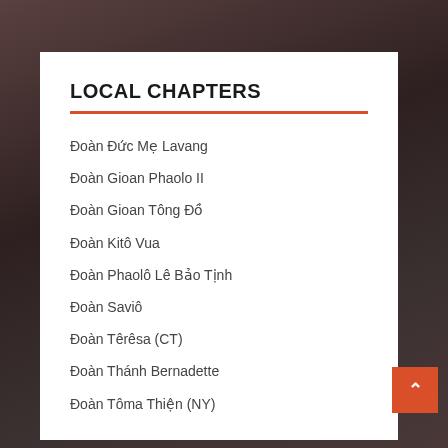LOCAL CHAPTERS
Đoàn Đức Mẹ Lavang
Đoàn Gioan Phaolo II
Đoàn Gioan Tông Đồ
Đoàn Kitô Vua
Đoàn Phaolô Lê Bảo Tịnh
Đoàn Saviô
Đoàn Têrêsa (CT)
Đoàn Thánh Bernadette
Đoàn Tôma Thiện (NY)